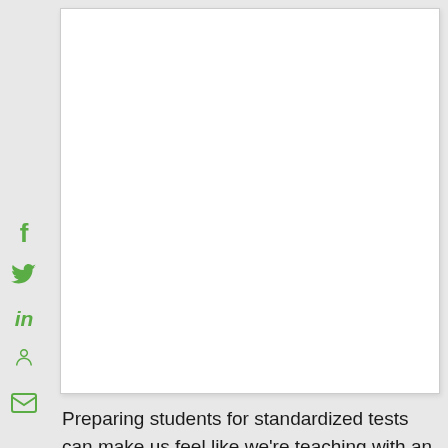[Figure (photo): White/blank image box placeholder at top of page]
Preparing students for standardized tests can make us feel like we're teaching with an arm tied behind our backs. Can interesting, engaging lessons exist in this environment? I think we can't afford not to teach that way. (Flickr / Globaloria)